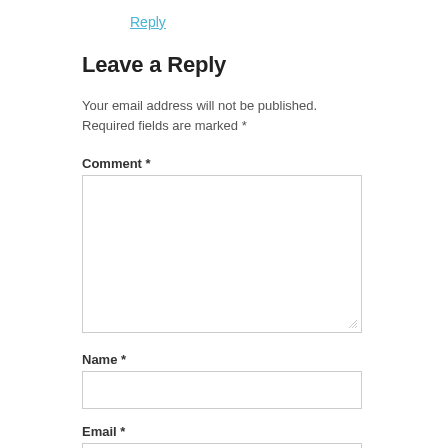Reply
Leave a Reply
Your email address will not be published. Required fields are marked *
Comment *
Name *
Email *